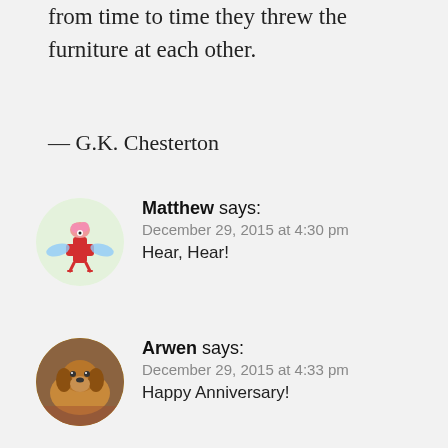from time to time they threw the furniture at each other.
— G.K. Chesterton
Matthew says:
December 29, 2015 at 4:30 pm
Hear, Hear!
[Figure (illustration): Circular avatar icon showing a cartoon red cross-shaped creature with wings and a brain on top, on a light green background]
Arwen says:
December 29, 2015 at 4:33 pm
Happy Anniversary!
[Figure (photo): Circular avatar photo of a brown dog lying down]
Mary says:
December 29, 2015 at 4:58 pm
Many happy returns of the day
[Figure (illustration): Circular avatar showing an illustrated figure with dark flowing hair]